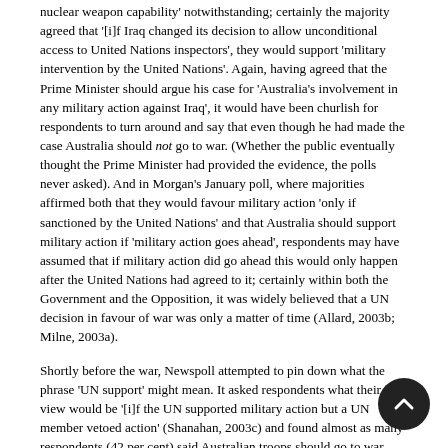nuclear weapon capability' notwithstanding; certainly the majority agreed that '[i]f Iraq changed its decision to allow unconditional access to United Nations inspectors', they would support 'military intervention by the United Nations'. Again, having agreed that the Prime Minister should argue his case for 'Australia's involvement in any military action against Iraq', it would have been churlish for respondents to turn around and say that even though he had made the case Australia should not go to war. (Whether the public eventually thought the Prime Minister had provided the evidence, the polls never asked). And in Morgan's January poll, where majorities affirmed both that they would favour military action 'only if sanctioned by the United Nations' and that Australia should support military action if 'military action goes ahead', respondents may have assumed that if military action did go ahead this would only happen after the United Nations had agreed to it; certainly within both the Government and the Opposition, it was widely believed that a UN decision in favour of war was only a matter of time (Allard, 2003b; Milne, 2003a).
Shortly before the war, Newspoll attempted to pin down what the phrase 'UN support' might mean. It asked respondents what their view would be '[i]f the UN supported military action but a UN member vetoed action' (Shanahan, 2003c) and found almost as many respondents (42 per cent) said Australian troops should go to war, even if one nation did exercise a veto (Tony Blair's position), as said they should not (50 per cent). This contrasted sharply with the response to its regular question about support for 'Australia's involvement in military action if the United Nations had not given approval for any action' – a question that constantly showed the majority not only 'opposed' but 'strongly opposed'. What was problematic was not the new question but the old; specifically, the failure of the regular question to ascertain what respondents understood by the idea of the UN not giving its approval.